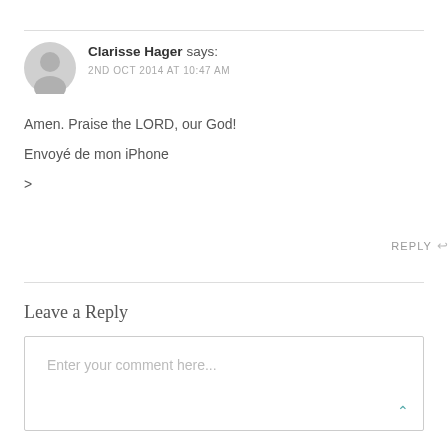[Figure (illustration): Generic user avatar icon: grey circle with silhouette of a person (head and shoulders)]
Clarisse Hager says:
2ND OCT 2014 AT 10:47 AM
Amen. Praise the LORD, our God!
Envoyé de mon iPhone
>
REPLY ↩
Leave a Reply
Enter your comment here...